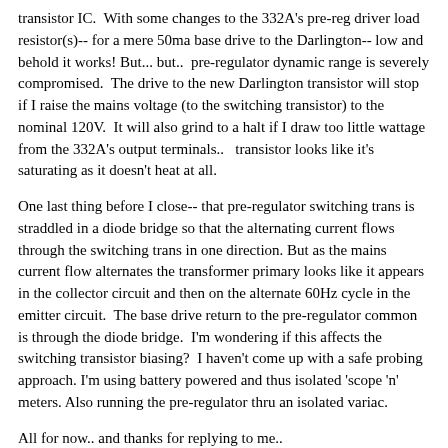transistor IC.  With some changes to the 332A's pre-reg driver load resistor(s)-- for a mere 50ma base drive to the Darlington-- low and behold it works! But... but..  pre-regulator dynamic range is severely compromised.  The drive to the new Darlington transistor will stop if I raise the mains voltage (to the switching transistor) to the nominal 120V.  It will also grind to a halt if I draw too little wattage from the 332A's output terminals..   transistor looks like it's saturating as it doesn't heat at all.
One last thing before I close-- that pre-regulator switching trans is straddled in a diode bridge so that the alternating current flows through the switching trans in one direction. But as the mains current flow alternates the transformer primary looks like it appears in the collector circuit and then on the alternate 60Hz cycle in the emitter circuit.  The base drive return to the pre-regulator common is through the diode bridge.  I'm wondering if this affects the switching transistor biasing?  I haven't come up with a safe probing approach. I'm using battery powered and thus isolated 'scope 'n' meters. Also running the pre-regulator thru an isolated variac.
All for now.. and thanks for replying to me..
Regards,